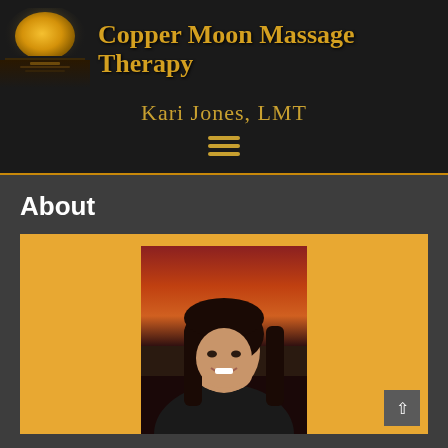[Figure (logo): Copper Moon Massage Therapy logo with golden moon rising over water and brand name text]
Kari Jones, LMT
About
[Figure (photo): Portrait photo of a woman with dark hair smiling, set against a sunset sky background, placed on an orange/golden card background]